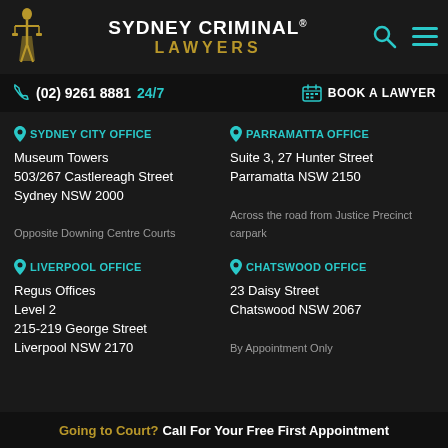SYDNEY CRIMINAL® LAWYERS
(02) 9261 8881 24/7  BOOK A LAWYER
SYDNEY CITY OFFICE
Museum Towers
503/267 Castlereagh Street
Sydney NSW 2000

Opposite Downing Centre Courts
PARRAMATTA OFFICE
Suite 3, 27 Hunter Street
Parramatta NSW 2150

Across the road from Justice Precinct carpark
LIVERPOOL OFFICE
Regus Offices
Level 2
215-219 George Street
Liverpool NSW 2170
CHATSWOOD OFFICE
23 Daisy Street
Chatswood NSW 2067

By Appointment Only
Going to Court? Call For Your Free First Appointment